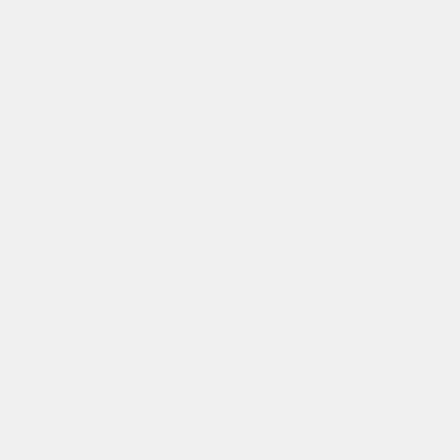wa he co ea mo to pa his ta *I'm try to be as pre as po bu